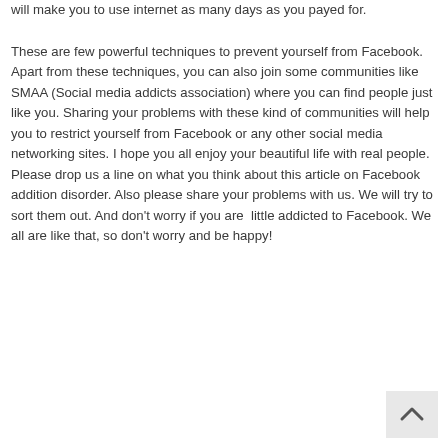will make you to use internet as many days as you payed for.
These are few powerful techniques to prevent yourself from Facebook. Apart from these techniques, you can also join some communities like SMAA (Social media addicts association) where you can find people just like you. Sharing your problems with these kind of communities will help you to restrict yourself from Facebook or any other social media networking sites. I hope you all enjoy your beautiful life with real people. Please drop us a line on what you think about this article on Facebook addition disorder. Also please share your problems with us. We will try to sort them out. And don't worry if you are  little addicted to Facebook. We all are like that, so don't worry and be happy!